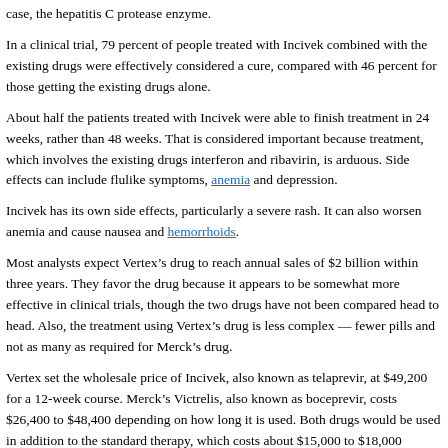case, the hepatitis C protease enzyme.
In a clinical trial, 79 percent of people treated with Incivek combined with the existing drugs were effectively considered a cure, compared with 46 percent for those getting the existing drugs alone.
About half the patients treated with Incivek were able to finish treatment in 24 weeks, rather than 48 weeks. That is considered important because treatment, which involves the existing drugs interferon and ribavirin, is arduous. Side effects can include flulike symptoms, anemia and depression.
Incivek has its own side effects, particularly a severe rash. It can also worsen anemia and cause nausea and hemorrhoids.
Most analysts expect Vertex's drug to reach annual sales of $2 billion within three years. They favor the drug because it appears to be somewhat more effective in clinical trials, though the two drugs have not been compared head to head. Also, the treatment using Vertex's drug is less complex — fewer pills and not as many as required for Merck's drug.
Vertex set the wholesale price of Incivek, also known as telaprevir, at $49,200 for a 12-week course. Merck's Victrelis, also known as boceprevir, costs $26,400 to $48,400 depending on how long it is used. Both drugs would be used in addition to the standard therapy, which costs about $15,000 to $18,000 depending on duration.
Vertex executives defended the price, saying that cures can prevent the problems caused by hepatitis C, like liver cirrhosis, liver cancer and the need for a liver transplant.
“Cure is rare in medicine and that makes the economics very compelling,” said